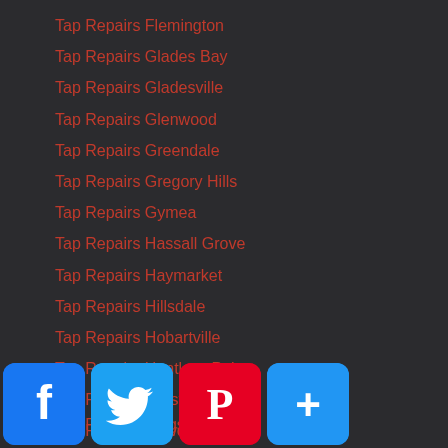Tap Repairs Flemington
Tap Repairs Glades Bay
Tap Repairs Gladesville
Tap Repairs Glenwood
Tap Repairs Greendale
Tap Repairs Gregory Hills
Tap Repairs Gymea
Tap Repairs Hassall Grove
Tap Repairs Haymarket
Tap Repairs Hillsdale
Tap Repairs Hobartville
Tap Repairs Huntleys Point
Tap Repairs Hurstville
Tap Repairs Illawong
Tap Repairs in Bankstown
Tap Repairs Jamisontown
Tap Repairs Kings Park
Tap Repairs Kingswood